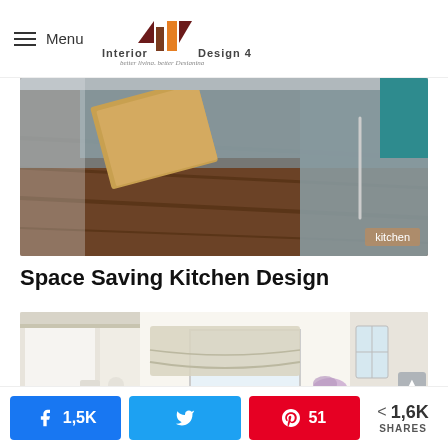Menu | Interior Design 4 — better living, better Designing
[Figure (photo): Overhead view of corner kitchen cabinets with pull-out drawer mechanism on hardwood floor; 'kitchen' tag overlay]
Space Saving Kitchen Design
[Figure (photo): Bright kitchen interior with white cabinets, Roman shade window treatment, and lavender flowers on counter]
< 1,6K SHARES | 1,5K Facebook | Twitter | 51 Pinterest